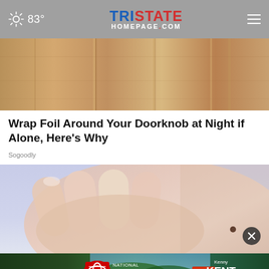83° TristateHomepage.com
[Figure (photo): Close-up of wooden door panels with vertical grooves, warm tan/brown tones]
Wrap Foil Around Your Doorknob at Night if Alone, Here's Why
Sogoodly
[Figure (photo): Close-up of a hand touching or scratching skin with a mole visible]
[Figure (photo): Kenny Kent Toyota National Sales Event advertisement banner]